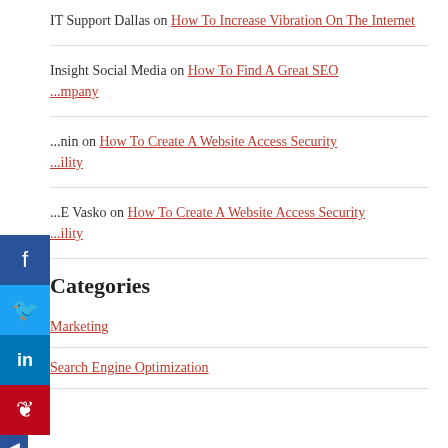IT Support Dallas on How To Increase Vibration On The Internet
Insight Social Media on How To Find A Great SEO Company
...nin on How To Create A Website Access Security ...ility
...E Vasko on How To Create A Website Access Security ...ility
Categories
Marketing
Search Engine Optimization